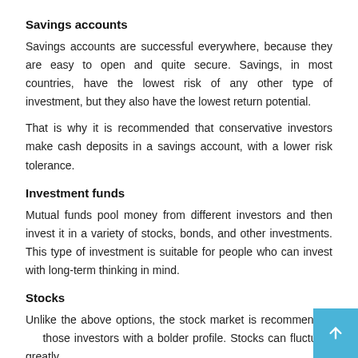Savings accounts
Savings accounts are successful everywhere, because they are easy to open and quite secure. Savings, in most countries, have the lowest risk of any other type of investment, but they also have the lowest return potential.
That is why it is recommended that conservative investors make cash deposits in a savings account, with a lower risk tolerance.
Investment funds
Mutual funds pool money from different investors and then invest it in a variety of stocks, bonds, and other investments. This type of investment is suitable for people who can invest with long-term thinking in mind.
Stocks
Unlike the above options, the stock market is recommended those investors with a bolder profile. Stocks can fluctuate greatly